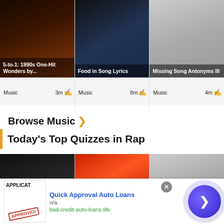[Figure (photo): Quiz card: 5-to-1: 1990s One-Hit Wonders by... with dark concert photo, Music category, 3m]
[Figure (photo): Quiz card: Food in Song Lyrics with musician holding pizza guitar, Music category, 8m]
[Figure (photo): Quiz card: Missing Song Antonyms III with woman wearing glasses, Music category, 4m]
Browse Music
Today's Top Quizzes in Rap
[Figure (photo): Rap quiz card: person with headphones and beanie]
[Figure (photo): Rap quiz card: woman in red feather outfit]
[Figure (photo): Rap quiz card: man with close-up face shot]
[Figure (screenshot): Advertisement: Quick Approval Auto Loans, n/a, bad-credit-auto-loans.life, with approved stamp image]